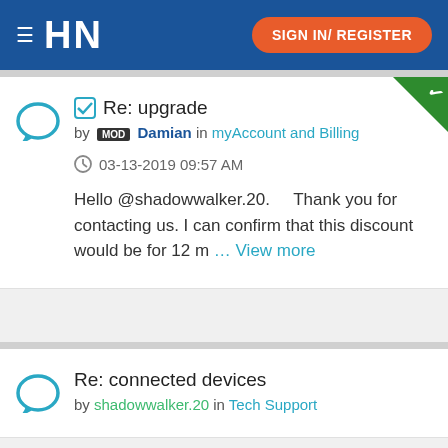HN  SIGN IN/ REGISTER
Re: upgrade
by MOD Damian in myAccount and Billing
03-13-2019 09:57 AM
Hello @shadowwalker.20.    Thank you for contacting us. I can confirm that this discount would be for 12 m … View more
Re: connected devices
by shadowwalker.20 in Tech Support